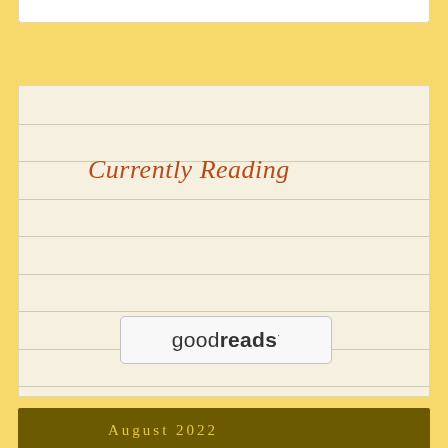Currently Reading
[Figure (logo): Goodreads logo inside a rounded rectangle widget box]
| M | T | W | T | F | S | S |
| --- | --- | --- | --- | --- | --- | --- |